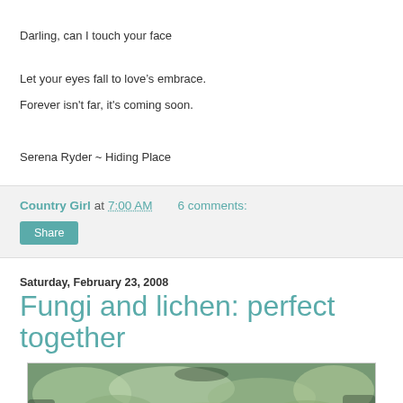Darling, can I touch your face
Let your eyes fall to love’s embrace.
Forever isn't far, it's coming soon.
Serena Ryder ~ Hiding Place
Country Girl at 7:00 AM    6 comments:
Share
Saturday, February 23, 2008
Fungi and lichen: perfect together
[Figure (photo): Close-up photograph of lichen and fungi growing together on a surface, showing green-gray lichen texture]